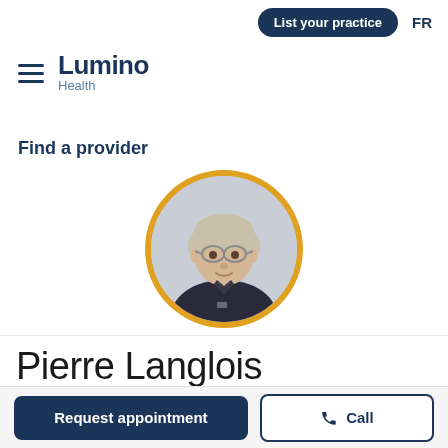List your practice  FR
[Figure (logo): Lumino Health logo with hamburger menu icon on the left]
Find a provider
[Figure (photo): Profile photo of Pierre Langlois, an older gentleman with glasses wearing a dark polo shirt, displayed in a circular frame with a gold/yellow border]
Pierre Langlois
Request appointment
Call